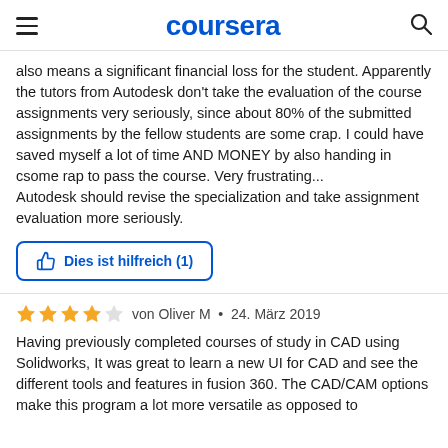coursera
also means a significant financial loss for the student. Apparently the tutors from Autodesk don't take the evaluation of the course assignments very seriously, since about 80% of the submitted assignments by the fellow students are some crap. I could have saved myself a lot of time AND MONEY by also handing in csome rap to pass the course. Very frustrating...
Autodesk should revise the specialization and take assignment evaluation more seriously.
Dies ist hilfreich (1)
von Oliver M • 24. März 2019
Having previously completed courses of study in CAD using Solidworks, It was great to learn a new UI for CAD and see the different tools and features in fusion 360. The CAD/CAM options make this program a lot more versatile as opposed to